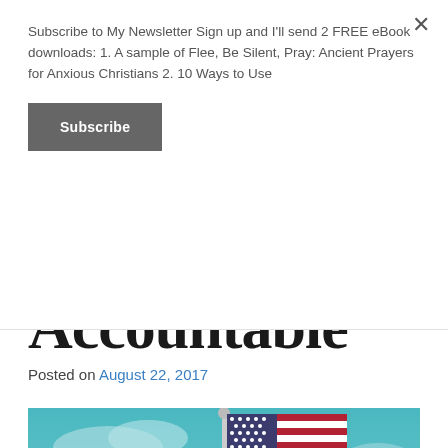Subscribe to My Newsletter Sign up and I'll send 2 FREE eBook downloads: 1. A sample of Flee, Be Silent, Pray: Ancient Prayers for Anxious Christians 2. 10 Ways to Use
Subscribe
Accountable
Posted on August 22, 2017
[Figure (photo): American flag on a flagpole against a teal/blue sky with clouds]